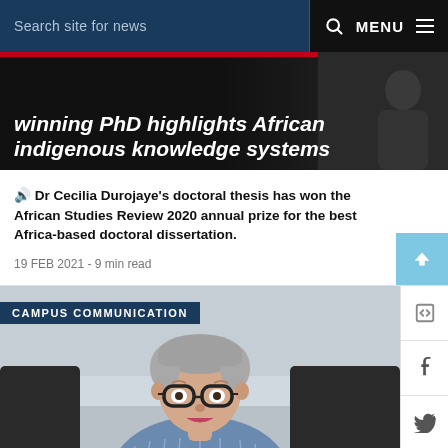Search site for news   MENU
winning PhD highlights African indigenous knowledge systems
🔊 Dr Cecilia Durojaye's doctoral thesis has won the African Studies Review 2020 annual prize for the best Africa-based doctoral dissertation.
19 FEB 2021 - 9 min read
[Figure (photo): Middle-aged woman with short grey hair and round glasses, wearing a patterned blue shirt, seated at a desk with dark monitor/chair visible in background. Campus Communication label overlay.]